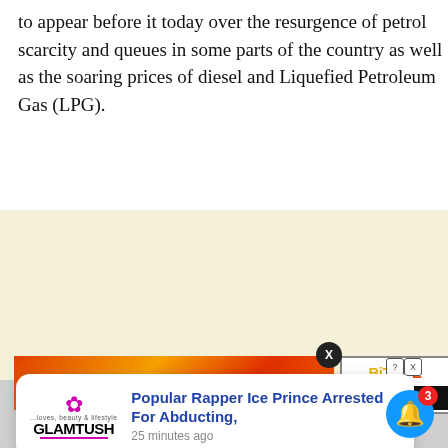to appear before it today over the resurgence of petrol scarcity and queues in some parts of the country as well as the soaring prices of diesel and Liquefied Petroleum Gas (LPG).
[Figure (screenshot): Advertisement area with cream/beige background (placeholder ad space)]
[Figure (screenshot): Bottom browser UI showing a GlamTush notification card ('Popular Rapper Ice Prince Arrested For Abducting, 25 minutes ago'), a partial BitLife ad banner, an X close button, and a blue bell notification button with badge count 3]